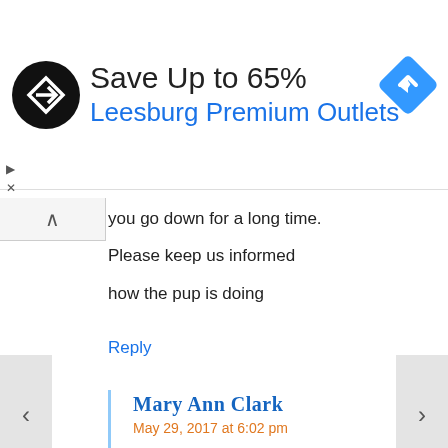[Figure (screenshot): Advertisement banner: Save Up to 65% Leesburg Premium Outlets with circular logo and navigation diamond icon]
you go down for a long time.

Please keep us informed

how the pup is doing
Reply
Mary Ann Clark
May 29, 2017 at 6:02 pm
He should never get out of jail! Please find out how that poor puppy is and where he got this poor creature !